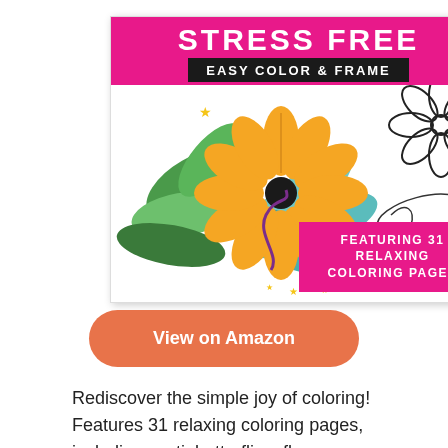[Figure (illustration): Book cover of 'Stress Free Easy Color & Frame' coloring book with spiral binding on the left, pink/magenta header with title text, a large orange flower with green and teal leaves on white background, and a pink box reading 'Featuring 31 Relaxing Coloring Pages']
View on Amazon
Rediscover the simple joy of coloring! Features 31 relaxing coloring pages, including cacti, butterflies, flowers, mandalas, and more. Large-print images range in